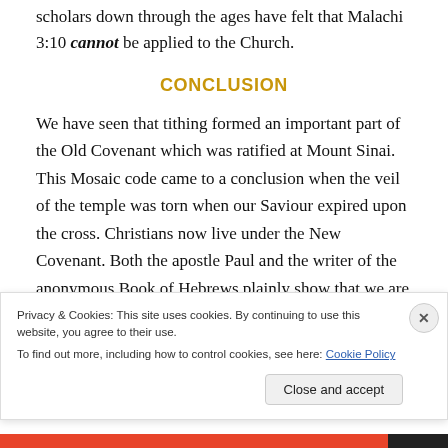scholars down through the ages have felt that Malachi 3:10 cannot be applied to the Church.
CONCLUSION
We have seen that tithing formed an important part of the Old Covenant which was ratified at Mount Sinai. This Mosaic code came to a conclusion when the veil of the temple was torn when our Saviour expired upon the cross. Christians now live under the New Covenant. Both the apostle Paul and the writer of the anonymous Book of Hebrews plainly show that we are no longer subject to the
Privacy & Cookies: This site uses cookies. By continuing to use this website, you agree to their use.
To find out more, including how to control cookies, see here: Cookie Policy